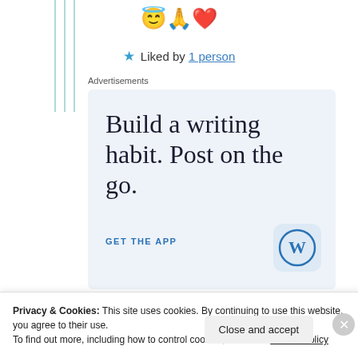😇🙏❤️
★ Liked by 1 person
Advertisements
[Figure (illustration): WordPress app advertisement with text 'Build a writing habit. Post on the go.' and GET THE APP call to action with WordPress logo]
Privacy & Cookies: This site uses cookies. By continuing to use this website, you agree to their use.
To find out more, including how to control cookies, see here: Cookie Policy
Close and accept